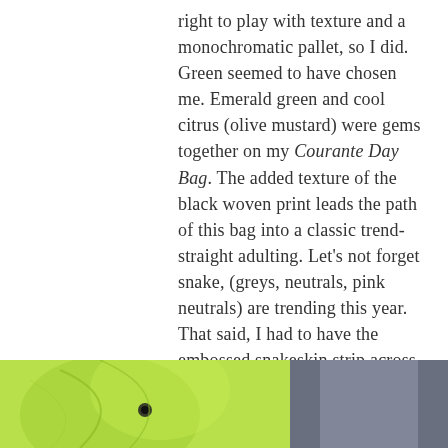right to play with texture and a monochromatic pallet, so I did. Green seemed to have chosen me. Emerald green and cool citrus (olive mustard) were gems together on my Courante Day Bag. The added texture of the black woven print leads the path of this bag into a classic trend- straight adulting. Let's not forget snake, (greys, neutrals, pink neutrals) are trending this year. That said, I had to have the embossed snakeskin strip across the front. Designing my own lux bag makes it even more marvelous and rather special to me. Finding a chance NOT to carry it is difficult because surprisingly, it goes with everything.
[Figure (photo): Bottom strip showing two photos side by side: left is a bright yellow-green fabric/clothing item with a small black button detail, right is a dark grey/slate cylindrical object]